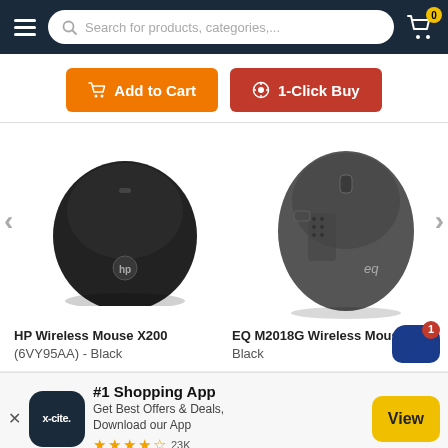Search for products, categories,...
Add to Cart | 1-Click Buy
[Figure (photo): HP Wireless Mouse X200 (6VY95AA) - Black product image on left; EQ M2018G Wireless Mouse Black product image on right, within a product carousel with left and right navigation arrows]
HP Wireless Mouse X200 (6VY95AA) - Black
EQ M2018G Wireless Mouse Black
[Figure (infographic): X-cite app promotional banner: #1 Shopping App - Get Best Offers & Deals, Download our App. 4.5 stars, 23K reviews. View button.]